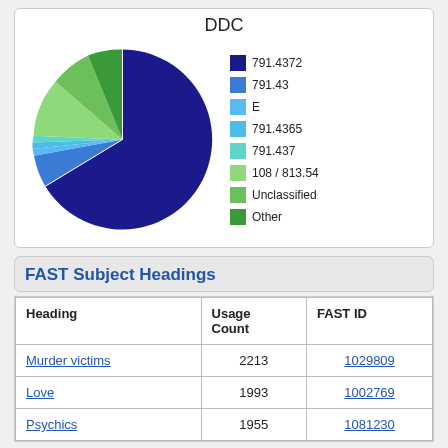[Figure (pie-chart): DDC]
FAST Subject Headings
| Heading | Usage Count | FAST ID |
| --- | --- | --- |
| Murder victims | 2213 | 1029809 |
| Love | 1993 | 1002769 |
| Psychics | 1955 | 1081230 |